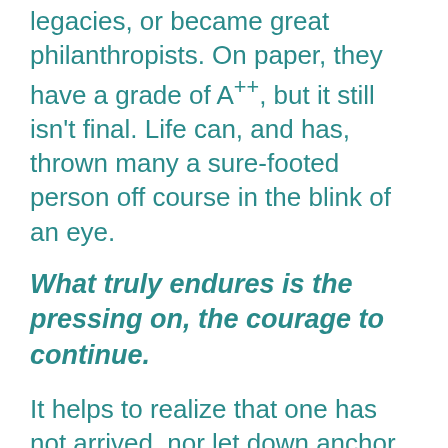legacies, or became great philanthropists. On paper, they have a grade of A++, but it still isn't final. Life can, and has, thrown many a sure-footed person off course in the blink of an eye.
What truly endures is the pressing on, the courage to continue.
It helps to realize that one has not arrived, nor let down anchor, but that life is fluid, changing daily. Once we understand this, it can springboard us into action, enabling us to keep moving forward regardless of the